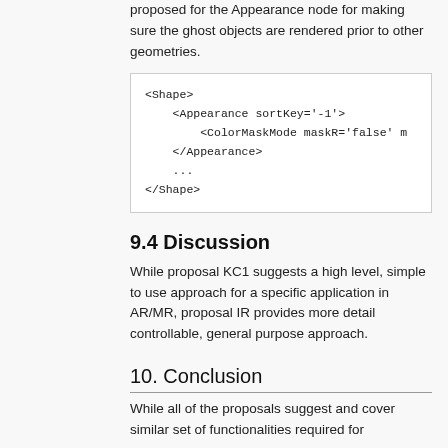proposed for the Appearance node for making sure the ghost objects are rendered prior to other geometries.
<Shape>
    <Appearance sortKey='-1'>
        <ColorMaskMode maskR='false' m
    </Appearance>
    ...
</Shape>
9.4 Discussion
While proposal KC1 suggests a high level, simple to use approach for a specific application in AR/MR, proposal IR provides more detail controllable, general purpose approach.
10. Conclusion
While all of the proposals suggest and cover similar set of functionalities required for